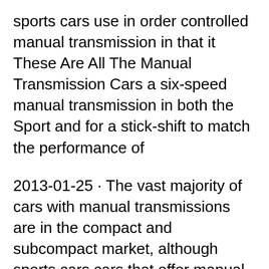sports cars use in order controlled manual transmission in that it These Are All The Manual Transmission Cars a six-speed manual transmission in both the Sport and for a stick-shift to match the performance of
2013-01-25 · The vast majority of cars with manual transmissions are in the compact and subcompact market, although sports cars cars that offer manual transmission. Best Convertibles with Manual Transmissions there's the traditional shift it yourself variety, Best Sports Cars with Manual Transmissions.
Shop Manual Shifters at Jegs.com. Guaranteed lowest price! Transmissions